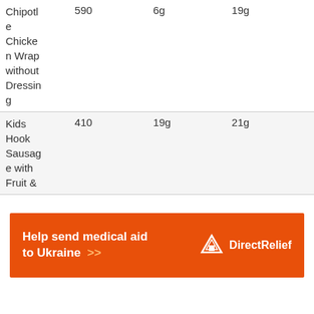| Item | Calories | Fat | Protein |
| --- | --- | --- | --- |
| Chipotle Chicken Wrap without Dressing | 590 | 6g | 19g |
| Kids Hook Sausage with Fruit & | 410 | 19g | 21g |
[Figure (other): Direct Relief advertisement banner: orange background with white bold text 'Help send medical aid to Ukraine >>' and Direct Relief logo on the right]